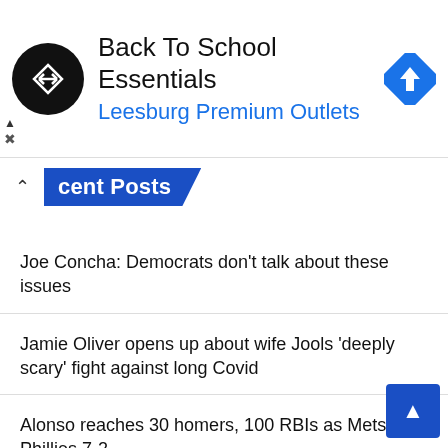[Figure (other): Advertisement banner: circular black logo with double-arrow symbol, text 'Back To School Essentials' and 'Leesburg Premium Outlets' in blue, blue diamond navigation icon on right, close/ad controls on left]
Recent Posts
Joe Concha: Democrats don't talk about these issues
Jamie Oliver opens up about wife Jools 'deeply scary' fight against long Covid
Alonso reaches 30 homers, 100 RBIs as Mets top Phillies 7-2
Riley, Wright lead Braves past Astros 6-2 in Series rematch
Man, 20, charged with murder in death of TikTok